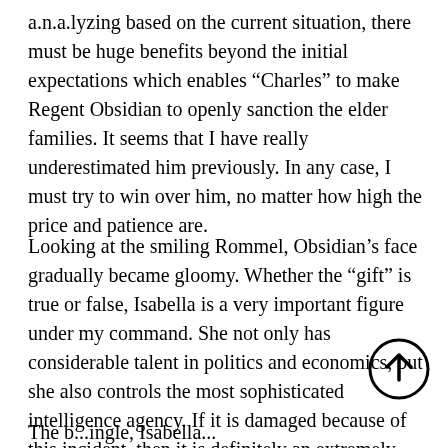a.n.a.lyzing based on the current situation, there must be huge benefits beyond the initial expectations which enables “Charles” to make Regent Obsidian to openly sanction the elder families. It seems that I have really underestimated him previously. In any case, I must try to win over him, no matter how high the price and patience are.
Looking at the smiling Rommel, Obsidian’s face gradually became gloomy. Whether the “gift” is true or false, Isabella is a very important figure under my command. She not only has considerable talent in politics and economics, but she also controls the most sophisticated intelligence agency. If it is damaged because of this incident, then it is definitely an extremely heavy lo...
The b... ingle, Isabella...